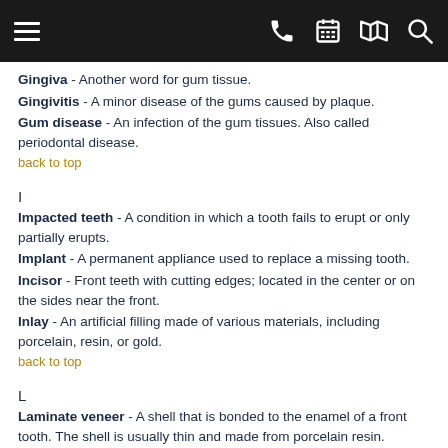[Navigation bar with hamburger menu, phone, calendar, map, and search icons]
Gingiva - Another word for gum tissue.
Gingivitis - A minor disease of the gums caused by plaque.
Gum disease - An infection of the gum tissues. Also called periodontal disease.
back to top
I
Impacted teeth - A condition in which a tooth fails to erupt or only partially erupts.
Implant - A permanent appliance used to replace a missing tooth.
Incisor - Front teeth with cutting edges; located in the center or on the sides near the front.
Inlay - An artificial filling made of various materials, including porcelain, resin, or gold.
back to top
L
Laminate veneer - A shell that is bonded to the enamel of a front tooth. The shell is usually thin and made from porcelain resin.
back to top